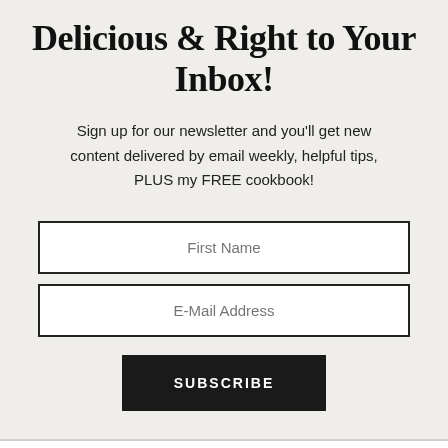Delicious & Right to Your Inbox!
Sign up for our newsletter and you'll get new content delivered by email weekly, helpful tips, PLUS my FREE cookbook!
[Figure (other): Newsletter signup form with First Name input, E-Mail Address input, and SUBSCRIBE button]